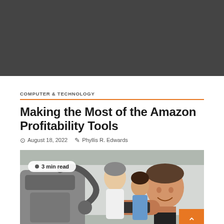[Figure (photo): Dark gray/charcoal banner image at top of page]
COMPUTER & TECHNOLOGY
Making the Most of the Amazon Profitability Tools
August 18, 2022   Phyllis R. Edwards
[Figure (photo): Photo of a smiling man in a medical/technology setting, taking a selfie or using a device, with two women in the background. A '3 min read' badge overlays the top-left corner.]